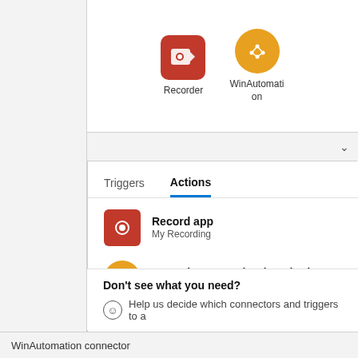[Figure (screenshot): Screenshot of a Power Automate / WinAutomation connector UI showing icons for Recorder and WinAutomation at the top, a tab bar with Triggers and Actions tabs (Actions selected), a list of actions including 'Record app / My Recording' and 'Run WinAutomation (preview) / Run my WinAutomation process', and a 'Don't see what you need?' section with a smiley icon and text 'Help us decide which connectors and triggers to a...']
WinAutomation connector